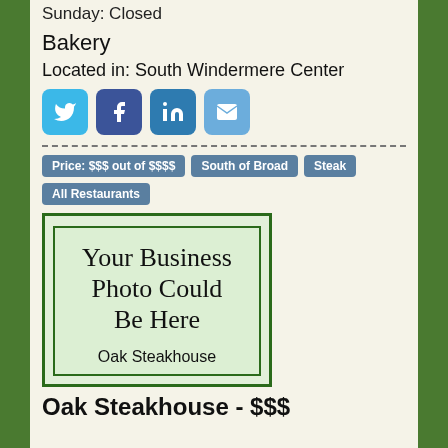Sunday: Closed
Bakery
Located in: South Windermere Center
[Figure (infographic): Social media icon buttons: Twitter (blue), Facebook (dark blue), LinkedIn (teal), Email (light blue)]
- - - - - - - - - - - - - - - - - - - - - - - - - - - - - -
Price: $$$ out of $$$$
South of Broad
Steak
All Restaurants
[Figure (illustration): Placeholder image box with green border and light green background. Text reads 'Your Business Photo Could Be Here'. Below reads 'Oak Steakhouse'.]
Oak Steakhouse - $$$